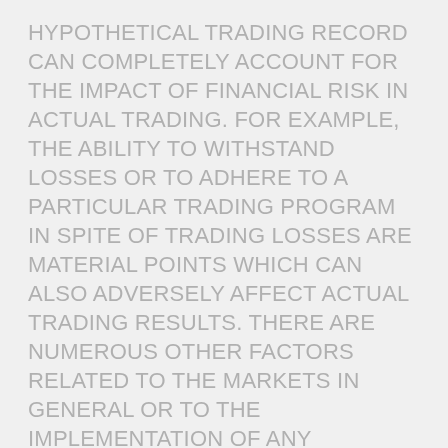HYPOTHETICAL TRADING RECORD CAN COMPLETELY ACCOUNT FOR THE IMPACT OF FINANCIAL RISK IN ACTUAL TRADING. FOR EXAMPLE, THE ABILITY TO WITHSTAND LOSSES OR TO ADHERE TO A PARTICULAR TRADING PROGRAM IN SPITE OF TRADING LOSSES ARE MATERIAL POINTS WHICH CAN ALSO ADVERSELY AFFECT ACTUAL TRADING RESULTS. THERE ARE NUMEROUS OTHER FACTORS RELATED TO THE MARKETS IN GENERAL OR TO THE IMPLEMENTATION OF ANY SPECIFIC TRADING PROGRAM WHICH CANNOT BE FULLY ACCOUNTED FOR IN THE PREPARATION OF HYPOTHETICAL PERFORMANCE RESULTS AND ALL OF WHICH CAN ADVERSELY AFFECT ACTUAL TRADING RESULTS.
ONE OF THE LIMITATIONS OF HYPOTHETICAL PERFORMANCE RESULTS IS THAT THEY ARE GENERALLY PREPARED WITH THE BENEFIT OF HINDSIGHT. IN ADDITION, HYPOTHETICAL TRADING DOES NOT INVOLVE FINANCIAL RISK, AND NO